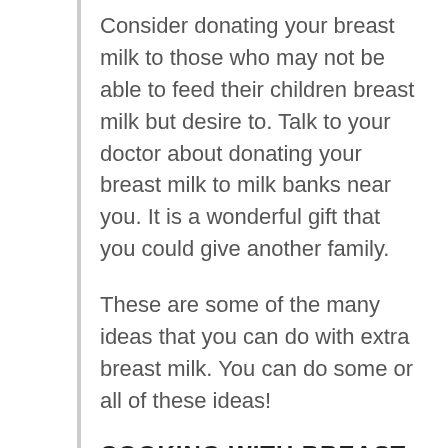Consider donating your breast milk to those who may not be able to feed their children breast milk but desire to. Talk to your doctor about donating your breast milk to milk banks near you. It is a wonderful gift that you could give another family.
These are some of the many ideas that you can do with extra breast milk. You can do some or all of these ideas!
COOKING WITH BREAST MILK
Some people use the extra breast milk to use in recipes that they consume. Talk to your doctor about cooking with breast milk and if it is right for you. There are many recipes online that you can choose from to have for yourself.